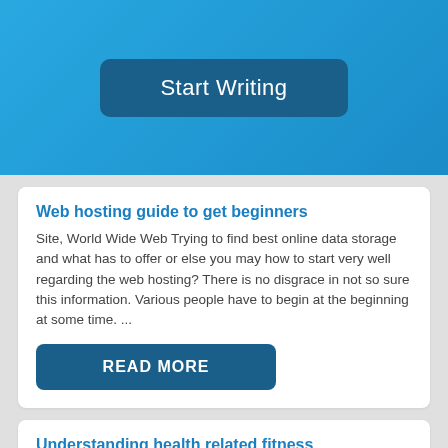[Figure (screenshot): Blue banner header with a 'Start Writing' button in dark blue with rounded corners]
Web hosting guide to get beginners
Site, World Wide Web Trying to find best online data storage and what has to offer or else you may how to start very well regarding the web hosting? There is no disgrace in not so sure this information. Various people have to begin at the beginning at some time. ...
READ MORE
Understanding health related fitness
Words: 1001 Being a Health and Fitness Professional, I must understand terms and definitions which can be typical for this industry, also to stay knowledgeable concerning improving patterns. Through my knowledge, I have discovered that various conditions merit to some degree more elucidation than that which they are allowed. Beside ...
READ MORE